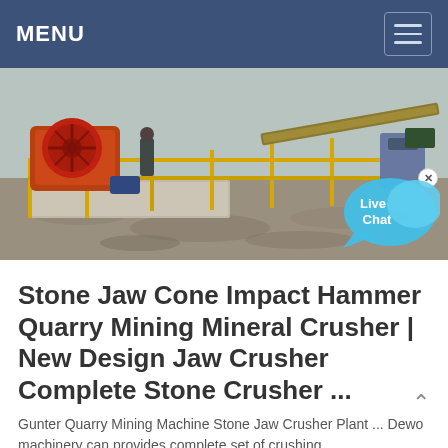MENU
[Figure (photo): Outdoor industrial mining/quarry site with orange jaw crusher machinery, yellow metal scaffolding and conveyor structures, dusty gravel ground, workers visible in background.]
Stone Jaw Cone Impact Hammer Quarry Mining Mineral Crusher | New Design Jaw Crusher Complete Stone Crusher ...
Gunter Quarry Mining Machine Stone Jaw Crusher Plant ... Dewo machinery can provides complete set of crushing